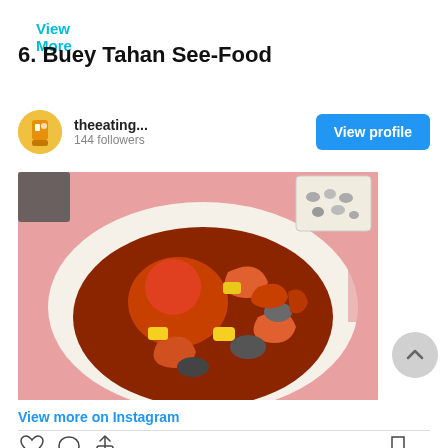View More
6. Buey Tahan See-Food
[Figure (screenshot): Instagram profile card showing user 'theeating...' with 144 followers and a View profile button]
[Figure (photo): Photo of a seafood platter with crabs, shrimp, clams, corn, and sauce on paper lining]
View more on Instagram
[Figure (other): Instagram action icons: heart, comment, share, and bookmark]